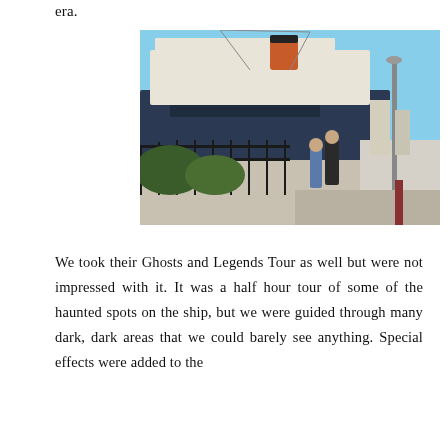era.
[Figure (photo): Two people standing on a sidewalk in front of the Queen Mary ocean liner docked at port, under a clear blue sky. A black metal fence and tropical plants are visible in the foreground. A tall lamppost stands to the right.]
We took their Ghosts and Legends Tour as well but were not impressed with it. It was a half hour tour of some of the haunted spots on the ship, but we were guided through many dark, dark areas that we could barely see anything. Special effects were added to the